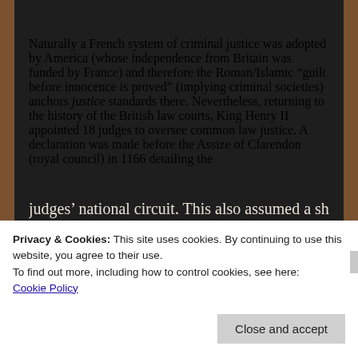Naturally a French system of criminal justice was adopted by America (whose independence from Britain was funded by France) and therefore the Roman/Islamic “guilt before innocence is proved” (implying criminal societies) anchors justice standards there. Nevertheless, returning to the history of the British law courts, King Henry II appointed 18 judges to oversee common law justice. A declaration was made before the Assize of Clarendon (royal council) in 1166 detailing the judges’ national circuit. This also assumed a shift
Privacy & Cookies: This site uses cookies. By continuing to use this website, you agree to their use.
To find out more, including how to control cookies, see here: Cookie Policy